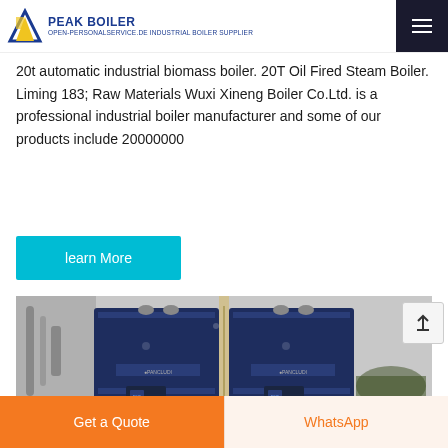PEAK BOILER — open-personalservice.de industrial boiler supplier
20t automatic industrial biomass boiler. 20T Oil Fired Steam Boiler. Liming 183; Raw Materials Wuxi Xineng Boiler Co.Ltd. is a professional industrial boiler manufacturer and some of our products include 20000000
learn More
[Figure (photo): Industrial boiler units (appears to be Pancludi brand) installed in a facility, showing two large dark blue boiler cabinets side by side with pipes and connections visible]
Get a Quote | WhatsApp